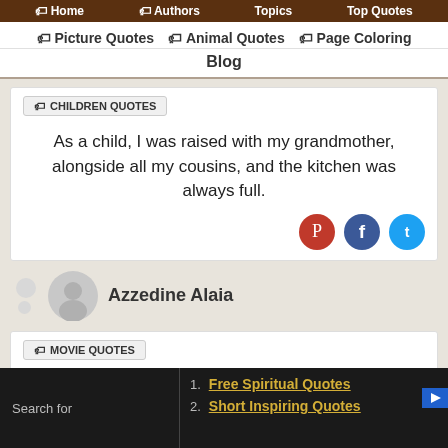Home | Authors | Topics | Top Quotes
Picture Quotes | Animal Quotes | Page Coloring | Blog
CHILDREN QUOTES
As a child, I was raised with my grandmother, alongside all my cousins, and the kitchen was always full.
Azzedine Alaia
MOVIE QUOTES
But audio is a component of video, so there's always
1. Free Spiritual Quotes
2. Short Inspiring Quotes